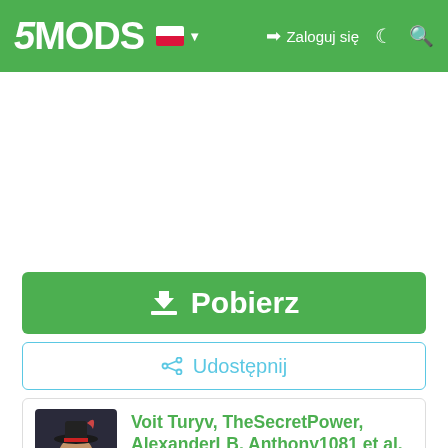5MODS — Zaloguj się
[Figure (illustration): Advertisement white space area]
Pobierz
Udostępnij
Voit Turyv, TheSecretPower, AlexanderLB, Anthony1081 et al.